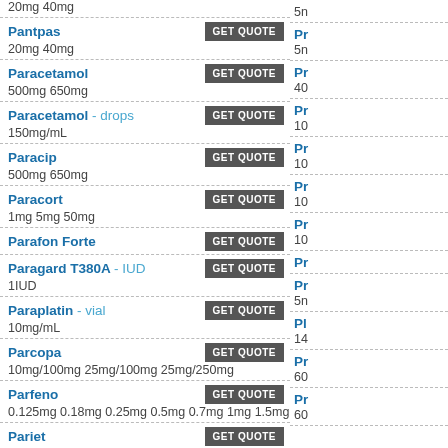20mg 40mg
Pantpas — GET QUOTE — 20mg 40mg
Paracetamol — GET QUOTE — 500mg 650mg
Paracetamol - drops — GET QUOTE — 150mg/mL
Paracip — GET QUOTE — 500mg 650mg
Paracort — GET QUOTE — 1mg 5mg 50mg
Parafon Forte — GET QUOTE
Paragard T380A - IUD — GET QUOTE — 1IUD
Paraplatin - vial — GET QUOTE — 10mg/mL
Parcopa — GET QUOTE — 10mg/100mg 25mg/100mg 25mg/250mg
Parfeno — GET QUOTE — 0.125mg 0.18mg 0.25mg 0.5mg 0.7mg 1mg 1.5mg
Pariet — GET QUOTE — 10mg 20mg